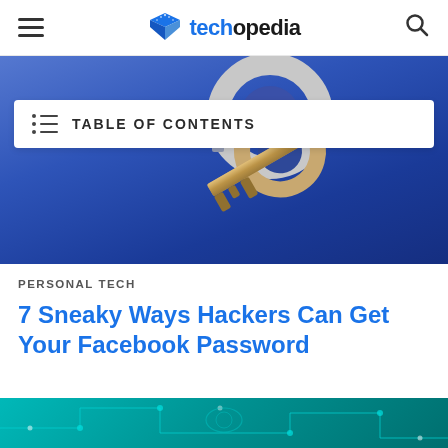techopedia
[Figure (photo): A close-up photo of a silver key on a blue background, partially overlaid by a Table of Contents bar]
TABLE OF CONTENTS
PERSONAL TECH
7 Sneaky Ways Hackers Can Get Your Facebook Password
[Figure (photo): Teal-colored circuit board / technology background image, partially visible at the bottom of the page]